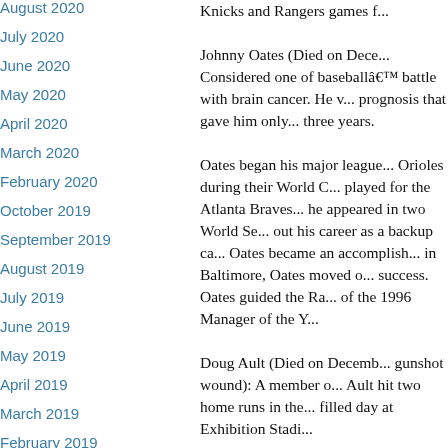August 2020
July 2020
June 2020
May 2020
April 2020
March 2020
February 2020
October 2019
September 2019
August 2019
July 2019
June 2019
May 2019
April 2019
March 2019
February 2019
January 2019
November 2018
Knicks and Rangers games f...
Johnny Oates (Died on Dece... Considered one of baseballâ€™... battle with brain cancer. He v... prognosis that gave him only... three years.
Oates began his major leagu... Orioles during their World C... played for the Atlanta Brav... he appeared in two World Se... out his career as a backup ca... Oates became an accomplish... in Baltimore, Oates moved o... success. Oates guided the Ra... of the 1996 Manager of the Y...
Doug Ault (Died on Decemb... gunshot wound): A member o... Ault hit two home runs in th... filled day at Exhibition Stadi...